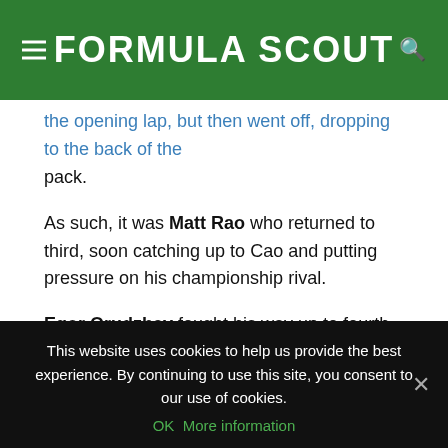FORMULA SCOUT
the opening lap, but then went off, dropping to the back of the pack.
As such, it was Matt Rao who returned to third, soon catching up to Cao and putting pressure on his championship rival.
Egor Orudzhev fought his way up to fourth place and was looking to mount a challenge for the podium, but, on lap six, his team’s race completely fell apart. The Russian was forced off the track due to suspension failure, while his teammate Peter Li Zhi Cong had to pull to the side a few corners prior.
This website uses cookies to help us provide the best experience. By continuing to use this site, you consent to our use of cookies. OK  More information